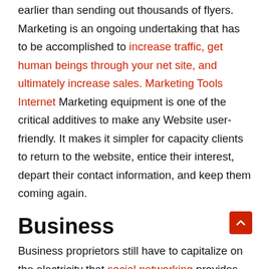earlier than sending out thousands of flyers. Marketing is an ongoing undertaking that has to be accomplished to increase traffic, get human beings through your net site, and ultimately increase sales. Marketing Tools Internet Marketing equipment is one of the critical additives to make any Website user-friendly. It makes it simpler for capacity clients to return to the website, entice their interest, depart their contact information, and keep them coming again.
Business
Business proprietors still have to capitalize on the electricity that social networking provides. Business professionals are increasing the use of social networking websites to connect to their existing colleagues instead of discovering new possibilities. Businesses that could